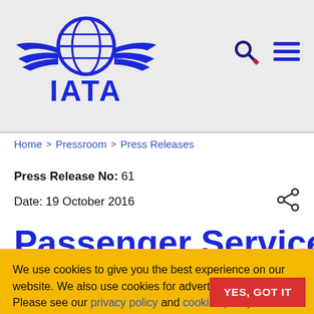[Figure (logo): IATA globe and wings logo with blue text 'IATA']
Home > Pressroom > Press Releases
Press Release No: 61
Date: 19 October 2016
Passenger Services
We use cookies to give you the best experience on our website. We also use cookies for advertising purposes. Please see our privacy policy and cookies policy for complete information.
YES, GOT IT